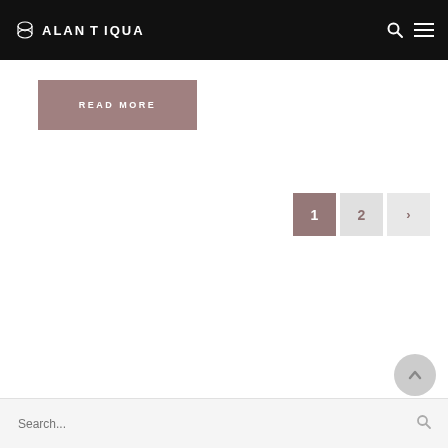ALANTIQUA
READ MORE
1  2  >
Search...